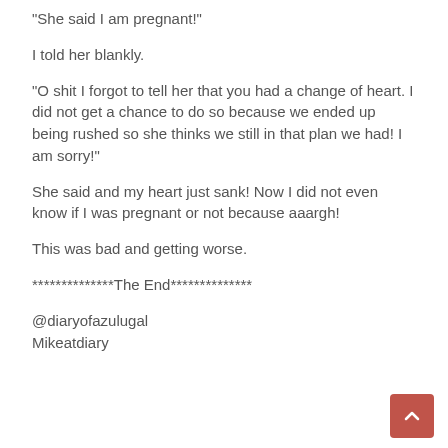“She said I am pregnant!”
I told her blankly.
“O shit I forgot to tell her that you had a change of heart. I did not get a chance to do so because we ended up being rushed so she thinks we still in that plan we had! I am sorry!”
She said and my heart just sank! Now I did not even know if I was pregnant or not because aaargh!
This was bad and getting worse.
**************The End**************
@diaryofazulugal
Mikeatdiary